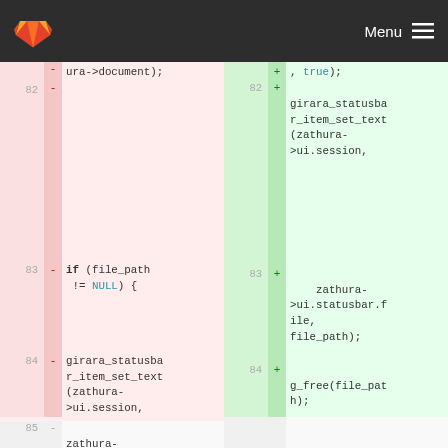GitLab Menu
[Figure (screenshot): Code diff view showing two columns (removed lines in pink on left, added lines in green on right). Left side shows lines 82-85 with removed code including 'ura->document);', blank line 82, 'if (file_path != NULL) {' on line 83, 'girara_statusbar_item_set_text(zathura->ui.session,' on line 84, and 'zathura-' partial on line 85. Right side shows lines 82-84 with added code including ', true);', blank line 82 with 'girara_statusbar_item_set_text(zathura->ui.session,', blank line 83 with 'zathura->ui.statusbar.file, file_path);', and line 84 with 'g_free(file_path);'.]